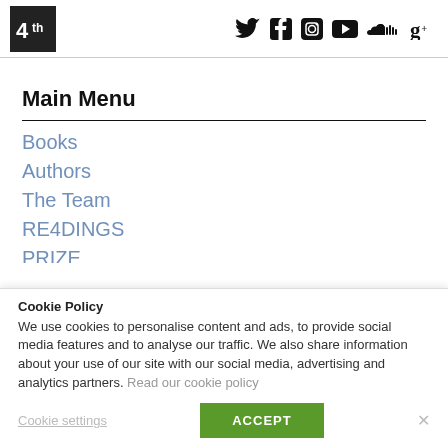4th Estate website header with logo and social media icons (Twitter, Facebook, Instagram, YouTube, SoundCloud, Google+)
Main Menu
Books
Authors
The Team
RE4DINGS
PRIZE
Cookie Policy
We use cookies to personalise content and ads, to provide social media features and to analyse our traffic. We also share information about your use of our site with our social media, advertising and analytics partners. Read our cookie policy
Cookie settings  ACCEPT  ×